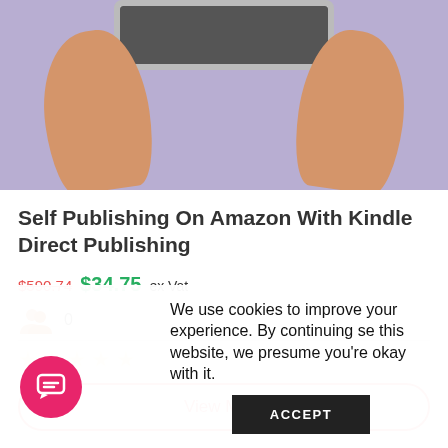[Figure (illustration): Illustration of hands holding a tablet device against a purple background]
Self Publishing On Amazon With Kindle Direct Publishing
$590.74 $34.75 ex Vat
0 (students icon)
★★★★★ (empty stars rating)
View More
We use cookies to improve your experience. By continuing se this website, we presume you're okay with it.
ACCEPT